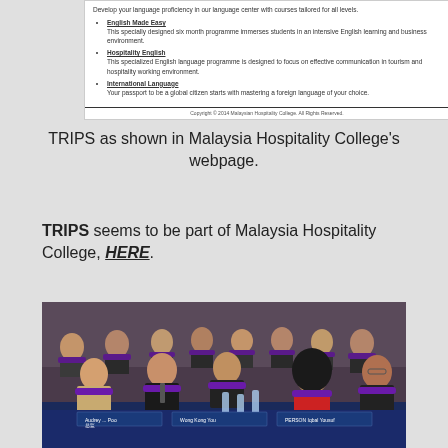[Figure (screenshot): Screenshot of Malaysia Hospitality College webpage showing language programs: English Made Easy, Hospitality English, International Language. Footer: Copyright 2014 Malaysian Hospitality College. All Rights Reserved.]
TRIPS as shown in Malaysia Hospitality College's webpage.
TRIPS seems to be part of Malaysia Hospitality College, HERE.
[Figure (photo): Group photo of people sitting at a conference table wearing purple scarves, giving thumbs up. Name plates visible on the table.]